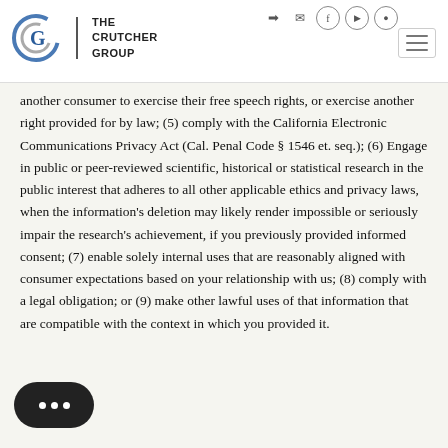The Crutcher Group
another consumer to exercise their free speech rights, or exercise another right provided for by law; (5) comply with the California Electronic Communications Privacy Act (Cal. Penal Code § 1546 et. seq.); (6) Engage in public or peer-reviewed scientific, historical or statistical research in the public interest that adheres to all other applicable ethics and privacy laws, when the information's deletion may likely render impossible or seriously impair the research's achievement, if you previously provided informed consent; (7) enable solely internal uses that are reasonably aligned with consumer expectations based on your relationship with us; (8) comply with a legal obligation; or (9) make other lawful uses of that information that are compatible with the context in which you provided it.